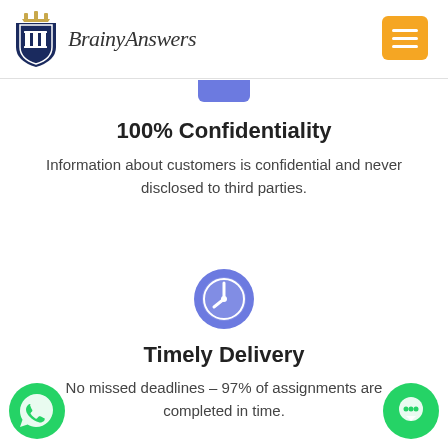[Figure (logo): BrainyAnswers logo with shield emblem and italic script text, plus orange hamburger menu button]
[Figure (illustration): Blue rounded rectangle tab partially visible below header]
100% Confidentiality
Information about customers is confidential and never disclosed to third parties.
[Figure (illustration): Blue circle clock icon with white clock face showing approximately 9:45]
Timely Delivery
No missed deadlines – 97% of assignments are completed in time.
[Figure (illustration): Green WhatsApp circle button with phone icon, bottom left]
[Figure (illustration): Green chat bubble circle button, bottom right]